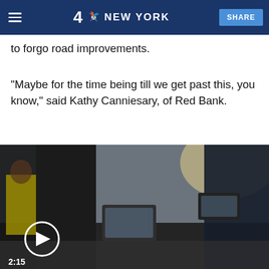4 NBC NEW YORK | SHARE
to forgo road improvements.
"Maybe for the time being till we get past this, you know," said Kathy Canniesary, of Red Bank.
Others cite what some economists have already said, that a tax holiday won't do much to lessen the damage.
[Figure (photo): Video thumbnail showing a close-up of car side mirrors and doors, with a person in a yellow vest visible in the background. A play button overlay is shown with timestamp 2:15.]